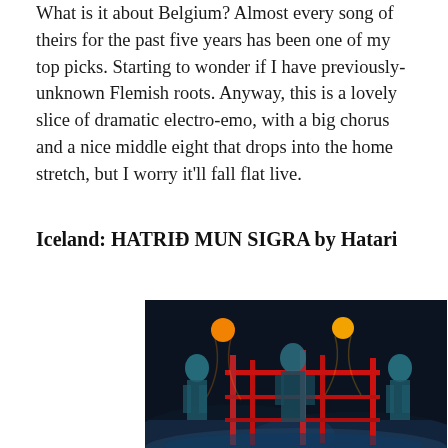What is it about Belgium? Almost every song of theirs for the past five years has been one of my top picks. Starting to wonder if I have previously-unknown Flemish roots. Anyway, this is a lovely slice of dramatic electro-emo, with a big chorus and a nice middle eight that drops into the home stretch, but I worry it'll fall flat live.
Iceland: HATRIÐ MUN SIGRA by Hatari
[Figure (photo): Three performers on a dark stage with red metal bars/cage structure, dramatic lighting with orange/amber spotlights above, blue-toned atmospheric lighting and fog/smoke below. The performers appear in dark, industrial-style costumes.]